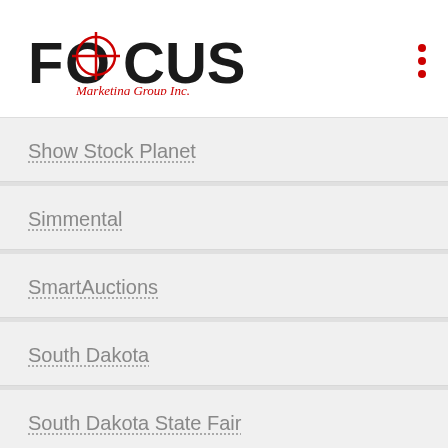[Figure (logo): Focus Marketing Group Inc. logo with red crosshair on the letter O, red cursive subtitle 'Marketing Group Inc.']
Show Stock Planet
Simmental
SmartAuctions
South Dakota
South Dakota State Fair
stall signs
Summer Spotlight
Survey
Uncategorized